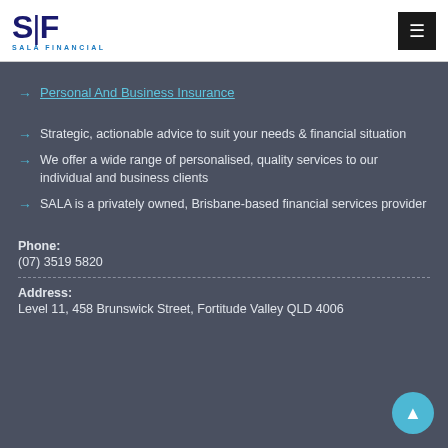SALA FINANCIAL
Personal And Business Insurance
Strategic, actionable advice to suit your needs & financial situation
We offer a wide range of personalised, quality services to our individual and business clients
SALA is a privately owned, Brisbane-based financial services provider
Phone:
(07) 3519 5820
Address:
Level 11, 458 Brunswick Street, Fortitude Valley QLD 4006